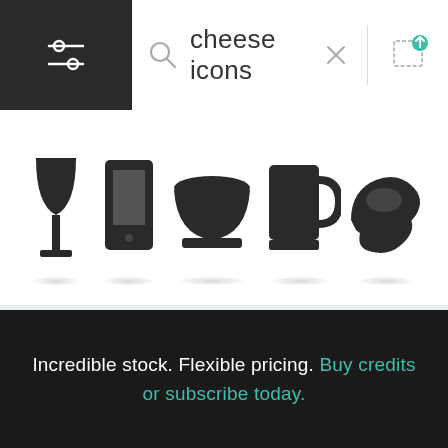[Figure (screenshot): Top navigation bar with filter/settings icon (dark background), search icon, text input showing 'cheese icons', close X icon, separator, and upload image icon]
[Figure (screenshot): Strip of black food and drink icons including wine glass, mobile phone/tablet, bowl, mug, and hand holding food item, each with a reflection shadow below]
Food & Drink Icons
Black food and drink icons. Layered and grouped for ease of use.
1 of 100  Next >
Incredible stock. Flexible pricing. Buy credits or subscribe today.